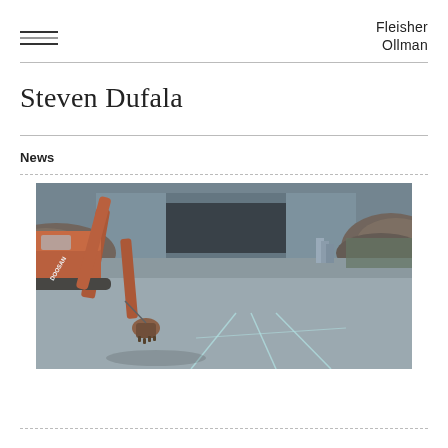Fleisher Ollman
Steven Dufala
News
[Figure (photo): Industrial scrapyard scene featuring a large orange Doosan excavator/crane arm reaching down toward a concrete floor. The concrete floor has white chalk or painted lines forming an X pattern. In the background is a large industrial building/warehouse with piles of scrap metal on either side. The image has a muted, desaturated color palette.]